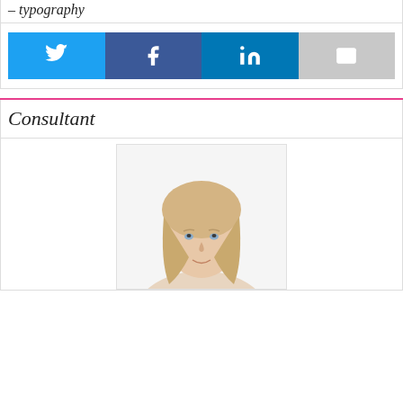Consultant
[Figure (photo): Social sharing buttons: Twitter (light blue), Facebook (dark blue), LinkedIn (medium blue), Email (grey)]
Consultant
[Figure (photo): Headshot photo of a blonde woman consultant, professional portrait]